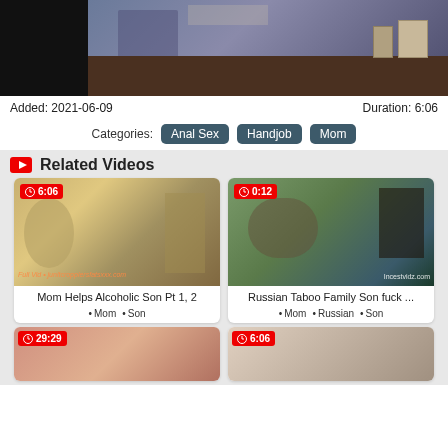[Figure (screenshot): Video thumbnail showing a person at a desk/office scene]
Added: 2021-06-09
Duration: 6:06
Categories: Anal Sex  Handjob  Mom
Related Videos
[Figure (screenshot): Video thumbnail: Mom Helps Alcoholic Son Pt 1, 2 — duration 6:06]
Mom Helps Alcoholic Son Pt 1, 2
Mom • Son
[Figure (screenshot): Video thumbnail: Russian Taboo Family Son fuck ... — duration 0:12]
Russian Taboo Family Son fuck ...
Mom • Russian • Son
[Figure (screenshot): Video thumbnail bottom left — duration 29:29]
[Figure (screenshot): Video thumbnail bottom right — duration 6:06]